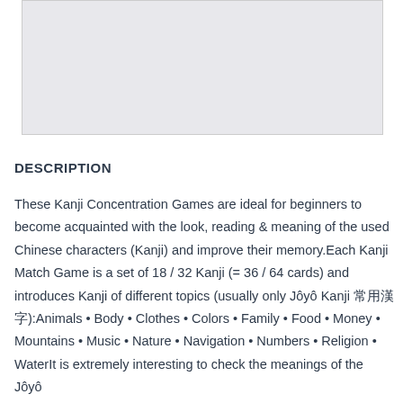[Figure (other): Gray rectangular image placeholder at the top of the page]
DESCRIPTION
These Kanji Concentration Games are ideal for beginners to become acquainted with the look, reading & meaning of the used Chinese characters (Kanji) and improve their memory.Each Kanji Match Game is a set of 18 / 32 Kanji (= 36 / 64 cards) and introduces Kanji of different topics (usually only Jôyô Kanji 常用漢字):Animals • Body • Clothes • Colors • Family • Food • Money • Mountains • Music • Nature • Navigation • Numbers • Religion • WaterIt is extremely interesting to check the meanings of the Jôyô